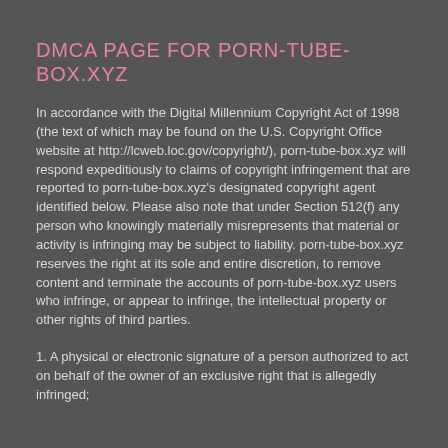DMCA PAGE FOR PORN-TUBE-BOX.XYZ
In accordance with the Digital Millennium Copyright Act of 1998 (the text of which may be found on the U.S. Copyright Office website at http://lcweb.loc.gov/copyright/), porn-tube-box.xyz will respond expeditiously to claims of copyright infringement that are reported to porn-tube-box.xyz's designated copyright agent identified below. Please also note that under Section 512(f) any person who knowingly materially misrepresents that material or activity is infringing may be subject to liability. porn-tube-box.xyz reserves the right at its sole and entire discretion, to remove content and terminate the accounts of porn-tube-box.xyz users who infringe, or appear to infringe, the intellectual property or other rights of third parties.
1. A physical or electronic signature of a person authorized to act on behalf of the owner of an exclusive right that is allegedly infringed;